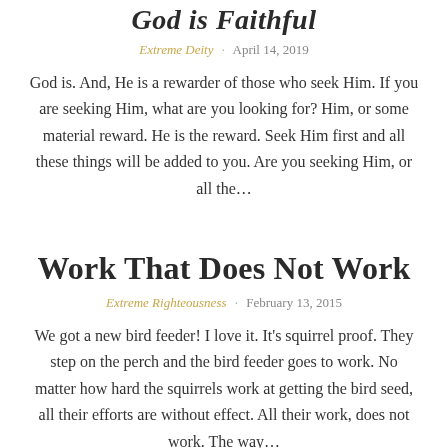God is Faithful
Extreme Deity · April 14, 2019
God is. And, He is a rewarder of those who seek Him. If you are seeking Him, what are you looking for? Him, or some material reward. He is the reward. Seek Him first and all these things will be added to you. Are you seeking Him, or all the…
Work That Does Not Work
Extreme Righteousness · February 13, 2015
We got a new bird feeder! I love it. It's squirrel proof. They step on the perch and the bird feeder goes to work. No matter how hard the squirrels work at getting the bird seed, all their efforts are without effect. All their work, does not work. The way…